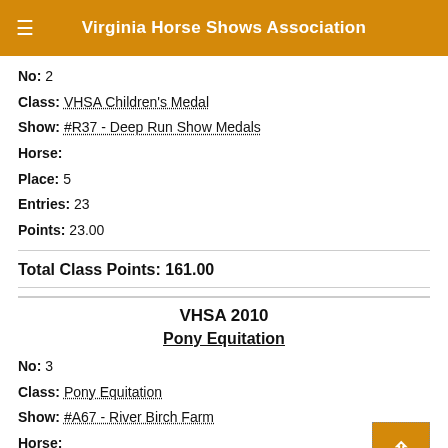Virginia Horse Shows Association
No: 2
Class: VHSA Children's Medal
Show: #R37 - Deep Run Show Medals
Horse:
Place: 5
Entries: 23
Points: 23.00
Total Class Points: 161.00
VHSA 2010
Pony Equitation
No: 3
Class: Pony Equitation
Show: #A67 - River Birch Farm
Horse:
Place: 1